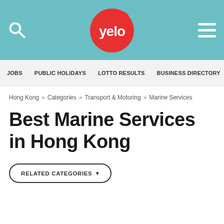[Figure (logo): Yelo website header with teal background, search icon on left, Yelo red circular logo in center, hamburger menu icon on right]
JOBS   PUBLIC HOLIDAYS   LOTTO RESULTS   BUSINESS DIRECTORY
Hong Kong » Categories » Transport & Motoring » Marine Services
Best Marine Services in Hong Kong
RELATED CATEGORIES ▾